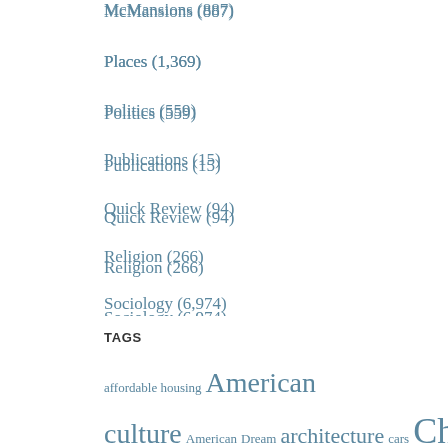McMansions (887)
Places (1,369)
Politics (559)
Publications (15)
Quick Review (94)
Religion (266)
Sociology (6,974)
Sports (269)
Transportation (522)
TAGS
affordable housing American culture American Dream architecture cars Chicago Chicago